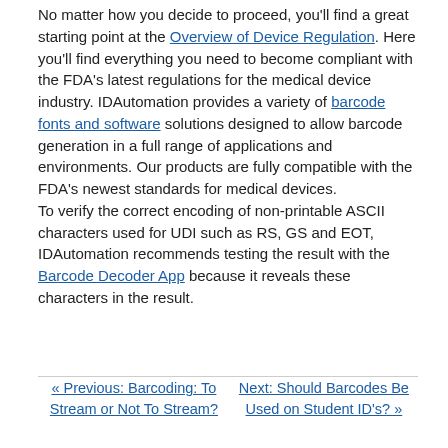No matter how you decide to proceed, you'll find a great starting point at the Overview of Device Regulation. Here you'll find everything you need to become compliant with the FDA's latest regulations for the medical device industry. IDAutomation provides a variety of barcode fonts and software solutions designed to allow barcode generation in a full range of applications and environments. Our products are fully compatible with the FDA's newest standards for medical devices.
To verify the correct encoding of non-printable ASCII characters used for UDI such as RS, GS and EOT, IDAutomation recommends testing the result with the Barcode Decoder App because it reveals these characters in the result.
« Previous: Barcoding: To Stream or Not To Stream?
Next: Should Barcodes Be Used on Student ID's? »